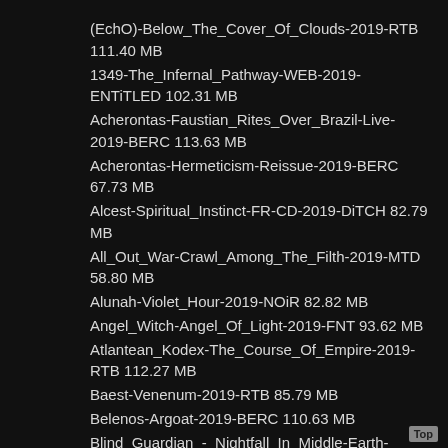(EchO)-Below_The_Cover_Of_Clouds-2019-RTB 111.40 MB
1349-The_Infernal_Pathway-WEB-2019-ENTiTLED 102.31 MB
Acherontas-Faustian_Rites_Over_Brazil-Live-2019-BERC 113.63 MB
Acherontas-Hermeticism-Reissue-2019-BERC 67.73 MB
Alcest-Spiritual_Instinct-FR-CD-2019-DiTCH 82.79 MB
All_Out_War-Crawl_Among_The_Filth-2019-MTD 58.80 MB
Alunah-Violet_Hour-2019-NOiR 82.82 MB
Angel_Witch-Angel_Of_Light-2019-FNT 93.62 MB
Atlantean_Kodex-The_Course_Of_Empire-2019-RTB 112.27 MB
Baest-Venenum-2019-RTB 85.79 MB
Belenos-Argoat-2019-BERC 110.63 MB
Blind_Guardian_-_Nightfall_In_Middle-Earth-(NB_4327-6)-REISSUE_REMASTERED-2LP-2019-FERiCE 155.13 MB
Blut_Aus_Nord-Hallucinogen-WEB-2019-ENTiTLED